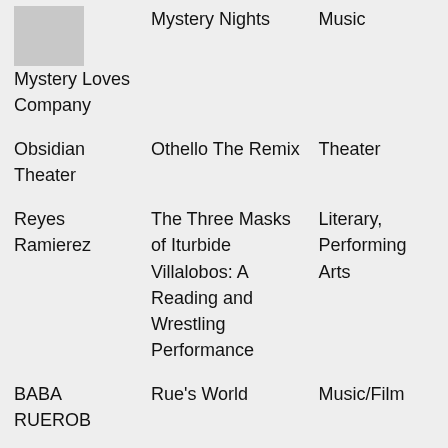| Artist/Organization | Project/Event | Discipline |
| --- | --- | --- |
| Mystery Loves Company | Mystery Nights | Music |
| Obsidian Theater | Othello The Remix | Theater |
| Reyes Ramierez | The Three Masks of Iturbide Villalobos: A Reading and Wrestling Performance | Literary, Performing Arts |
| BABA RUEROB | Rue's World | Music/Film |
| Carrie | Waterscapes | Socially Engaged |